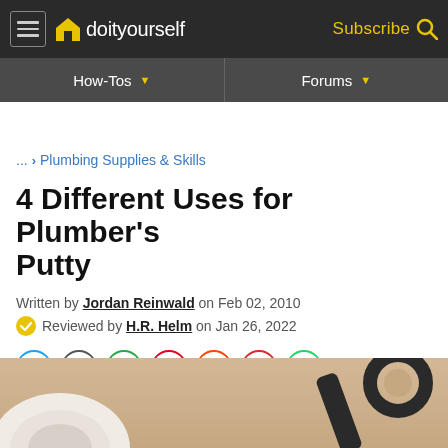doityourself — Subscribe
How-Tos | Forums
... > Plumbing Supplies & Skills
4 Different Uses for Plumber's Putty
Written by Jordan Reinwald on Feb 02, 2010
Reviewed by H.R. Helm on Jan 26, 2022
[Figure (screenshot): Social share buttons: Twitter, Facebook, Email, Pinterest, Reddit, Flipboard, WhatsApp]
[Figure (photo): Close-up photo of plumbing tools including a wrench on a beige/tan background]